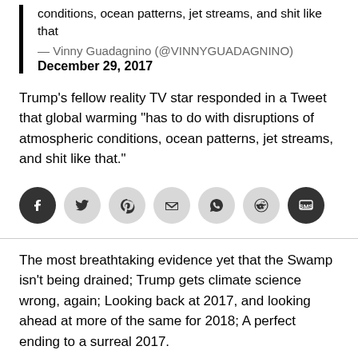conditions, ocean patterns, jet streams, and shit like that
— Vinny Guadagnino (@VINNYGUADAGNINO)
December 29, 2017
Trump's fellow reality TV star responded in a Tweet that global warming "has to do with disruptions of atmospheric conditions, ocean patterns, jet streams, and shit like that."
[Figure (infographic): Row of social media sharing icons: Facebook, Twitter, Pinterest, Email, WhatsApp, Reddit, SMS]
The most breathtaking evidence yet that the Swamp isn't being drained; Trump gets climate science wrong, again; Looking back at 2017, and looking ahead at more of the same for 2018; A perfect ending to a surreal 2017.